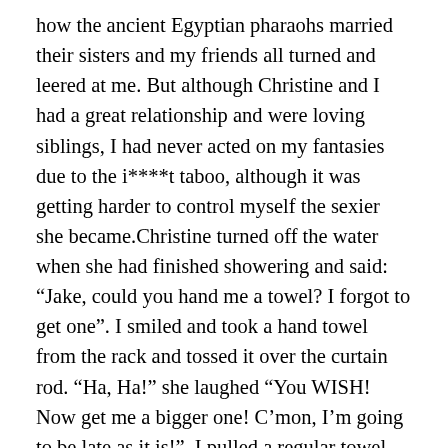how the ancient Egyptian pharaohs married their sisters and my friends all turned and leered at me. But although Christine and I had a great relationship and were loving siblings, I had never acted on my fantasies due to the i****t taboo, although it was getting harder to control myself the sexier she became.Christine turned off the water when she had finished showering and said: “Jake, could you hand me a towel? I forgot to get one”. I smiled and took a hand towel from the rack and tossed it over the curtain rod. “Ha, Ha!” she laughed “You WISH! Now get me a bigger one! C’mon, I’m going to be late as it is!”. I pulled a regular towel from the rack and tossed it over. She quickly dried off, tied the towel around her, opened the curtain and stepped from the shower. The towel barely concealed her. She looked at me and said: “What, STILL not done shaving? What were you doing, watching me or something?”“Couldn’t help it” I replied. “You may be my sister, but that body of yours is SLAMMIN”. She